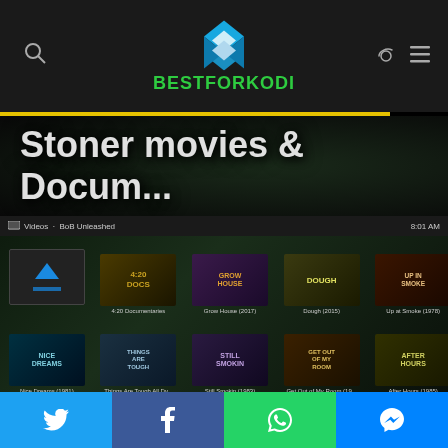[Figure (screenshot): BestForKodi website header with logo, search icon, dark/light toggle, and menu icon]
Stoner movies & Docum...
[Figure (screenshot): Kodi media player screenshot showing Videos - BoB Unleashed with movie grid including 4:20 Documentaries, Grow House (2017), Dough (2015), Up at Smoke (1978), Nice Dreams (1981), Things Are Tough All Dv..., Still Smokin (1983), Get Out of My Room (19..., After Hours (1985), and more at 8:01 AM]
[Figure (screenshot): Social sharing bar with Twitter, Facebook, WhatsApp, and Messenger buttons]